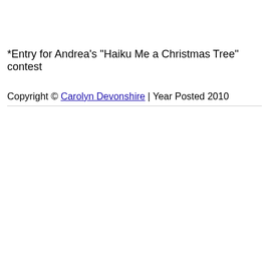*Entry for Andrea's "Haiku Me a Christmas Tree" contest
Copyright © Carolyn Devonshire | Year Posted 2010